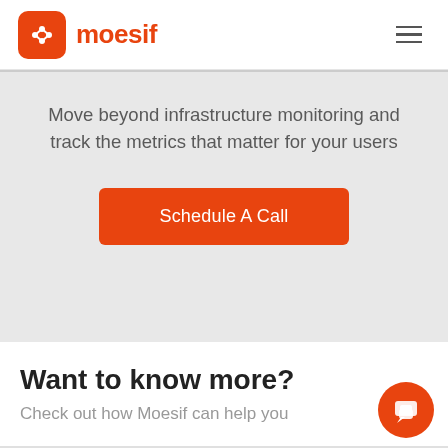moesif
Move beyond infrastructure monitoring and track the metrics that matter for your users
Schedule A Call
Want to know more?
Check out how Moesif can help you